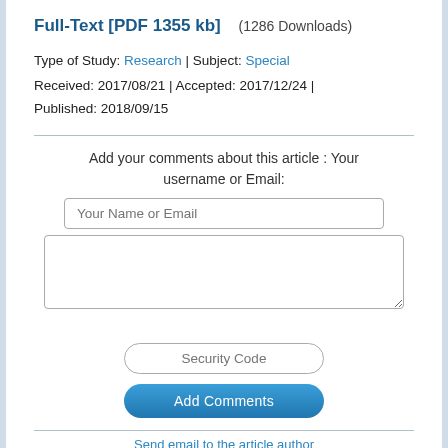Full-Text [PDF 1355 kb]  (1286 Downloads)
Type of Study: Research | Subject: Special
Received: 2017/08/21 | Accepted: 2017/12/24 | Published: 2018/09/15
Add your comments about this article : Your username or Email:
Your Name or Email
Security Code
Add Comments
Send email to the article author